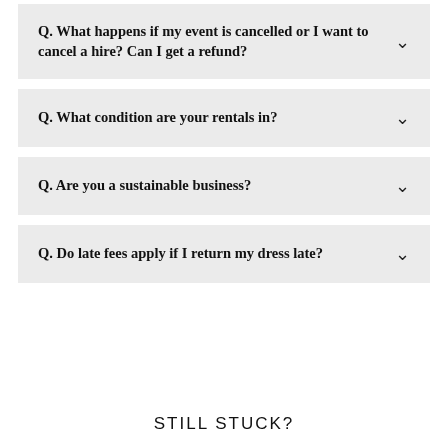Q. What happens if my event is cancelled or I want to cancel a hire? Can I get a refund?
Q. What condition are your rentals in?
Q. Are you a sustainable business?
Q. Do late fees apply if I return my dress late?
STILL STUCK?